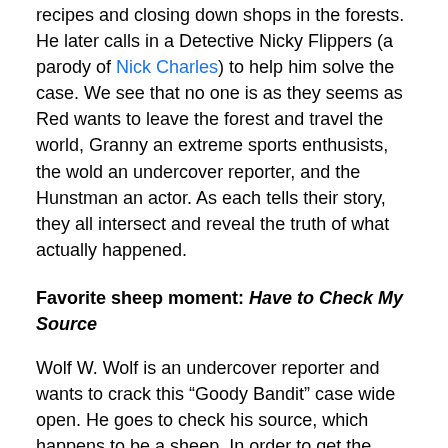recipes and closing down shops in the forests. He later calls in a Detective Nicky Flippers (a parody of Nick Charles) to help him solve the case. We see that no one is as they seems as Red wants to leave the forest and travel the world, Granny an extreme sports enthusists, the wold an undercover reporter, and the Hunstman an actor. As each tells their story, they all intersect and reveal the truth of what actually happened.
Favorite sheep moment: Have to Check My Source
Wolf W. Wolf is an undercover reporter and wants to crack this “Goody Bandit” case wide open. He goes to check his source, which happens to be a sheep. In order to get the goods, he dresses up as a sheep. This scene is hilarious as the interaction between the straight circuit wolf and Jersey shore sheep are just perfect.